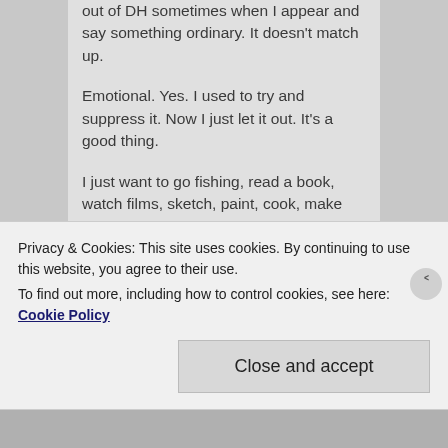out of DH sometimes when I appear and say something ordinary. It doesn't match up.
Emotional. Yes. I used to try and suppress it. Now I just let it out. It's a good thing.
I just want to go fishing, read a book, watch films, sketch, paint, cook, make pottery, nap, go for a walk, and be with DH and my cats, light a fire, watch the sunsets. If that doesn't sound like island life, what does? I would insist on a
Privacy & Cookies: This site uses cookies. By continuing to use this website, you agree to their use.
To find out more, including how to control cookies, see here: Cookie Policy
Close and accept